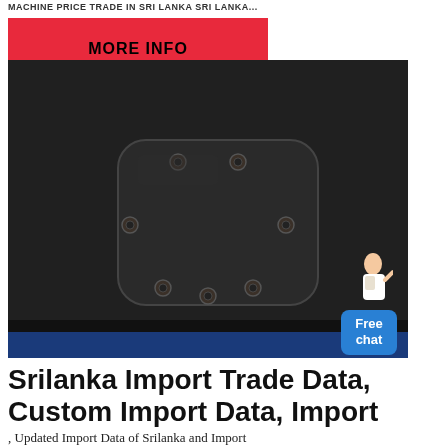Machine Price Trade in Sri Lanka Sri Lanka...
MORE INFO
[Figure (photo): Close-up photo of a dark gray/black industrial rubber or metal panel with a rounded rectangular inset plate fastened by multiple bolts/rivets, with a blue edge visible at bottom]
Srilanka Import Trade Data, Custom Import Data, Import
, Updated Import Data of Srilanka and Import